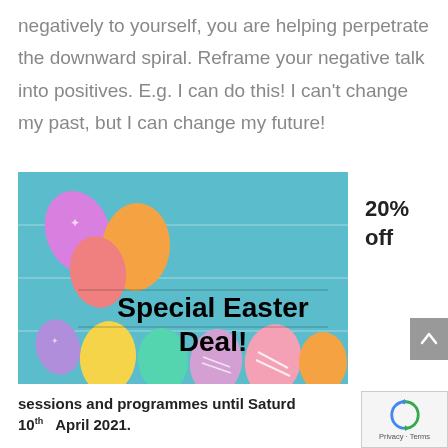negatively to yourself, you are helping perpetrate the downward spiral. Reframe your negative talk into positives. E.g. I can do this! I can't change my past, but I can change my future!
[Figure (illustration): Easter eggs on a teal wooden background with text 'Special Easter Deal!' in bold black.]
20% off
sessions and programmes until Saturday 10th April 2021.